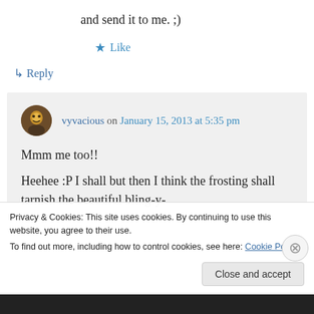and send it to me. ;)
★ Like
↳ Reply
vyvacious on January 15, 2013 at 5:35 pm
Mmm me too!!
Heehee :P I shall but then I think the frosting shall tarnish the beautiful bling-y-
Privacy & Cookies: This site uses cookies. By continuing to use this website, you agree to their use. To find out more, including how to control cookies, see here: Cookie Policy
Close and accept